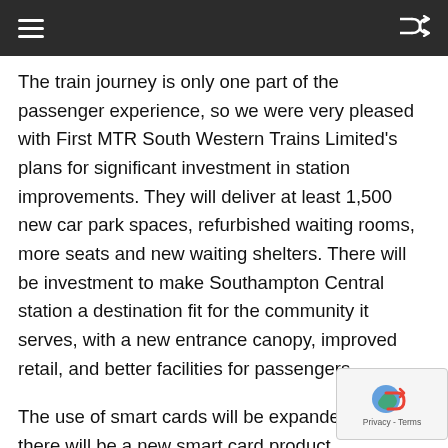≡   ⇌
The train journey is only one part of the passenger experience, so we were very pleased with First MTR South Western Trains Limited's plans for significant investment in station improvements. They will deliver at least 1,500 new car park spaces, refurbished waiting rooms, more seats and new waiting shelters. There will be investment to make Southampton Central station a destination fit for the community it serves, with a new entrance canopy, improved retail, and better facilities for passengers.
The use of smart cards will be expanded, and there will be a new smart card product, automatically offering the cheapest walk-up single or day return fare. A new flexible season ticket will benefit people